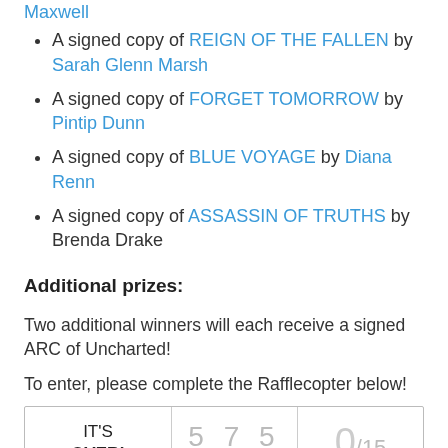A signed copy of REIGN OF THE FALLEN by Sarah Glenn Marsh
A signed copy of FORGET TOMORROW by Pintip Dunn
A signed copy of BLUE VOYAGE by Diana Renn
A signed copy of ASSASSIN OF TRUTHS by Brenda Drake
Additional prizes:
Two additional winners will each receive a signed ARC of Uncharted!
To enter, please complete the Rafflecopter below!
[Figure (screenshot): Rafflecopter widget showing IT'S OVER!, entry count 575, and 0/15]